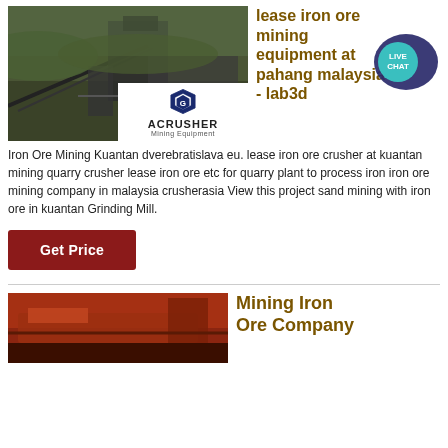[Figure (photo): Industrial iron ore mining equipment and conveyor structure at a mining site, with ACRUSHER Mining Equipment logo overlay]
lease iron ore mining equipment at pahang malaysia - lab3d
[Figure (other): Live Chat speech bubble badge in teal/dark blue]
Iron Ore Mining Kuantan dverebratislava eu. lease iron ore crusher at kuantan mining quarry crusher lease iron ore etc for quarry plant to process iron iron ore mining company in malaysia crusherasia View this project sand mining with iron ore in kuantan Grinding Mill.
Get Price
[Figure (photo): Red/orange heavy mining equipment, partial view at bottom of page]
Mining Iron Ore Company